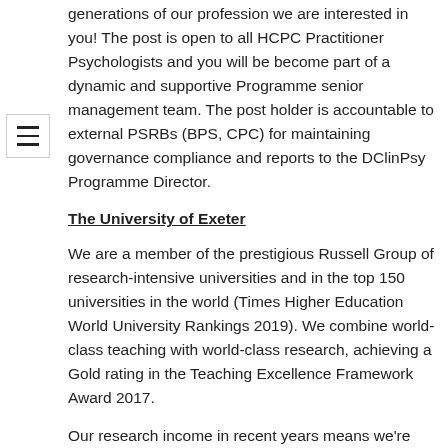generations of our profession we are interested in you! The post is open to all HCPC Practitioner Psychologists and you will be become part of a dynamic and supportive Programme senior management team. The post holder is accountable to external PSRBs (BPS, CPC) for maintaining governance compliance and reports to the DClinPsy Programme Director.
The University of Exeter
We are a member of the prestigious Russell Group of research-intensive universities and in the top 150 universities in the world (Times Higher Education World University Rankings 2019). We combine world-class teaching with world-class research, achieving a Gold rating in the Teaching Excellence Framework Award 2017.
Our research income in recent years means we're the